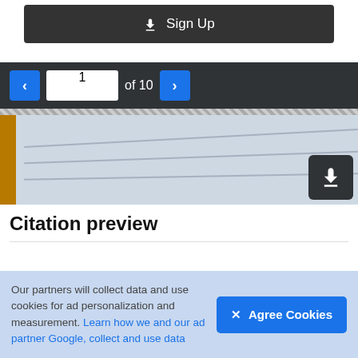[Figure (screenshot): Sign Up button - dark grey rounded button with upload icon and text 'Sign Up']
[Figure (screenshot): Pagination controls: left arrow button, input showing '1', text 'of 10', right arrow button on dark background, followed by a document preview showing a book spine and page lines, and a circular upload FAB button]
Citation preview
Our partners will collect data and use cookies for ad personalization and measurement. Learn how we and our ad partner Google, collect and use data
✕ Agree Cookies